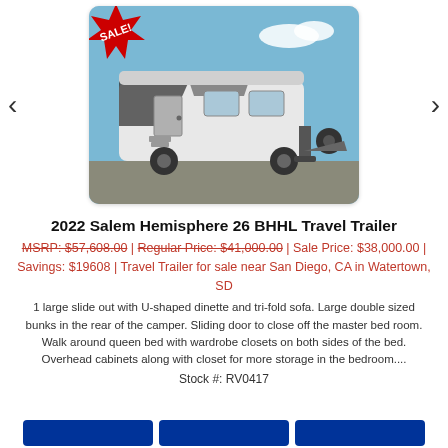[Figure (photo): Photo of a 2022 Salem Hemisphere 26 BHHL Travel Trailer (RV) parked outside on gravel, white exterior with dark graphic accents, blue sky background. A red 'SALE!' starburst badge overlays the top-left corner of the image. Navigation arrows appear on each side of the image.]
2022 Salem Hemisphere 26 BHHL Travel Trailer
MSRP: $57,608.00 | Regular Price: $41,000.00 | Sale Price: $38,000.00 | Savings: $19608 | Travel Trailer for sale near San Diego, CA in Watertown, SD
1 large slide out with U-shaped dinette and tri-fold sofa. Large double sized bunks in the rear of the camper. Sliding door to close off the master bed room. Walk around queen bed with wardrobe closets on both sides of the bed. Overhead cabinets along with closet for more storage in the bedroom....
Stock #: RV0417